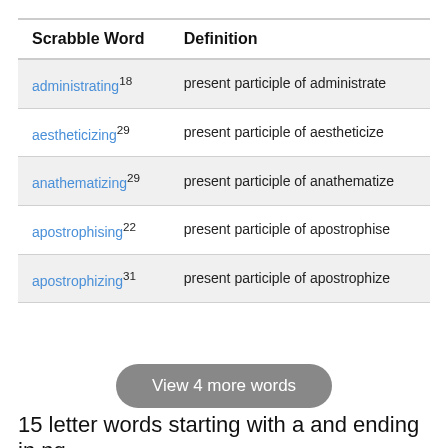| Scrabble Word | Definition |
| --- | --- |
| administrating18 | present participle of administrate |
| aestheticizing29 | present participle of aestheticize |
| anathematizing29 | present participle of anathematize |
| apostrophising22 | present participle of apostrophise |
| apostrophizing31 | present participle of apostrophize |
View 4 more words
15 letter words starting with a and ending in ng